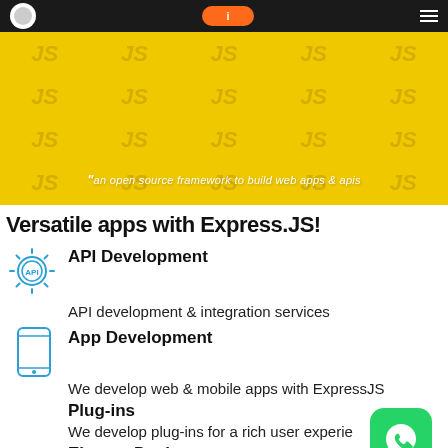[Figure (screenshot): Website screenshot showing Express.JS services page with yellow hero banner and navigation bar]
Versatile apps with Express.JS!
API Development
API development & integration services
App Development
We develop web & mobile apps with ExpressJS
Plug-ins
We develop plug-ins for a rich user experie...
Elegant Designs